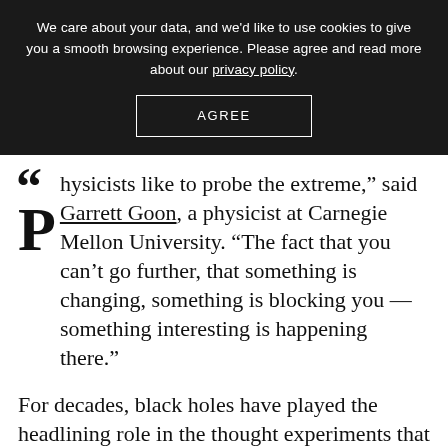We care about your data, and we'd like to use cookies to give you a smooth browsing experience. Please agree and read more about our privacy policy.
AGREE
“Physicists like to probe the extreme,” said Garrett Goon, a physicist at Carnegie Mellon University. “The fact that you can’t go further, that something is changing, something is blocking you — something interesting is happening there.”
For decades, black holes have played the headlining role in the thought experiments that physicists use to probe nature’s extremes. These invisible spheres form when matter becomes so